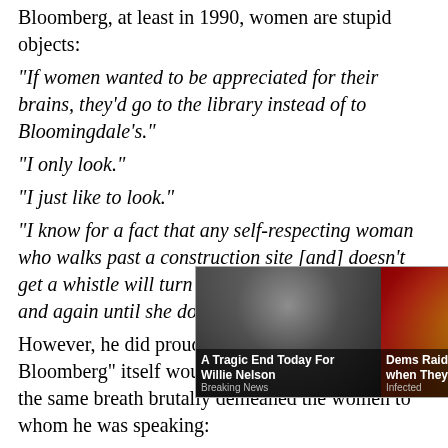Bloomberg, at least in 1990, women are stupid objects:
"If women wanted to be appreciated for their brains, they'd go to the library instead of to Bloomingdale's."
"I only look."
"I just like to look."
"I know for a fact that any self-respecting woman who walks past a construction site [and] doesn't get a whistle will turn around and walk past again and again until she does get one."
However, he did proudly boast that "the Bloomberg" itself would give blowjobs — and in the same breath brutally demeaned the women to whom he was speaking:
"It will do everything, including give you a blowjob. I guess that puts a lot of you girls out of business."
Although ... Bloomberg was, at th... wish:
"The thr... il, I'll
[Figure (screenshot): Ad overlay showing two news thumbnails: left shows an elderly man (Willie Nelson) with caption 'A Tragic End Today For Willie Nelson / Breaking News'; right shows a man at a desk with caption 'Dems Raid Mar-A-Lago when They Should b... / Infected'. A close (x) button appears at top right of the overlay.]